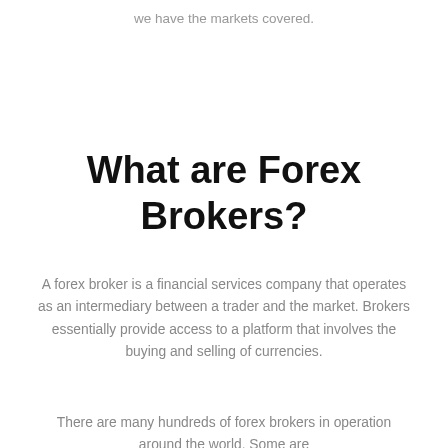we have the markets covered.
What are Forex Brokers?
A forex broker is a financial services company that operates as an intermediary between a trader and the market. Brokers essentially provide access to a platform that involves the buying and selling of currencies.
There are many hundreds of forex brokers in operation around the world. Some are